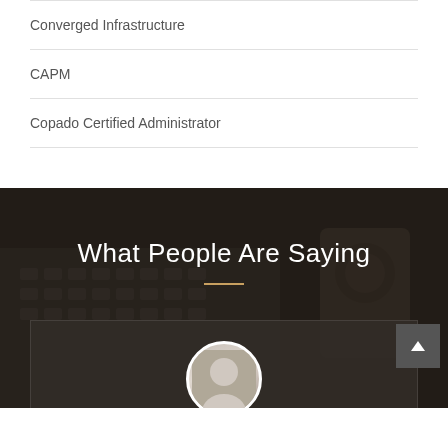Converged Infrastructure
CAPM
Copado Certified Administrator
What People Are Saying
[Figure (photo): Dark background photo of a laptop keyboard and a wrist watch on a desk, overlaid with semi-transparent dark tone. Contains a testimonial section header 'What People Are Saying' and a circular portrait photo at the bottom.]